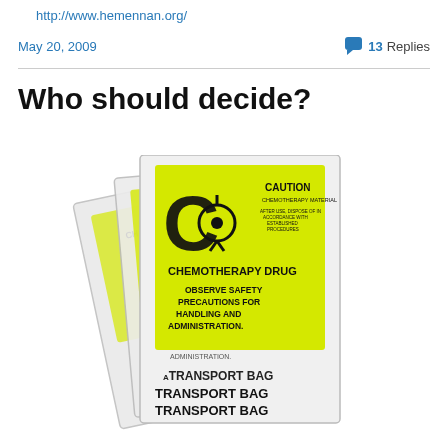http://www.hemennan.org/
May 20, 2009
13 Replies
Who should decide?
[Figure (photo): Three chemotherapy drug transport bags with yellow biohazard labels. Labels read: CAUTION CHEMOTHERAPY MATERIAL, CHEMOTHERAPY DRUG, OBSERVE SAFETY PRECAUTIONS FOR HANDLING AND ADMINISTRATION, ADMINISTRATION, TRANSPORT BAG (repeated three times at bottom).]